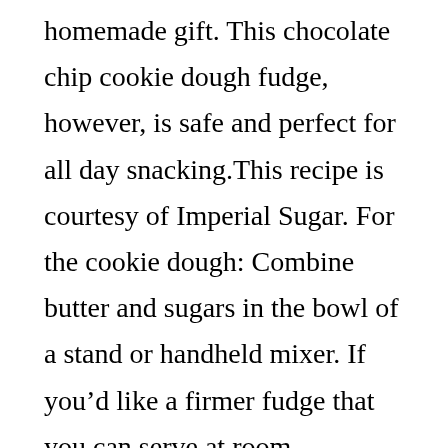homemade gift. This chocolate chip cookie dough fudge, however, is safe and perfect for all day snacking.This recipe is courtesy of Imperial Sugar. For the cookie dough: Combine butter and sugars in the bowl of a stand or handheld mixer. If you’d like a firmer fudge that you can serve at room temperature, use the full 5 cups. Together the soft fudge speckled with mini chocolate chips tastes like the best cookie dough you’ve ever had and, best of all, it is safe to eat. Raw